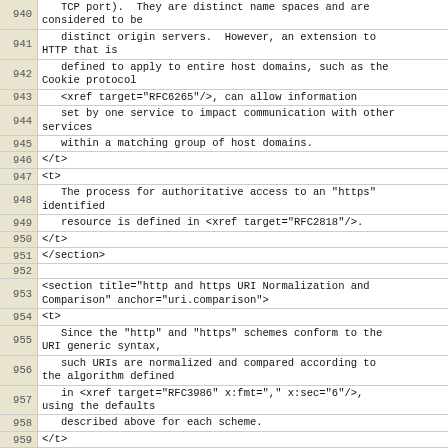940: TCP port).  They are distinct name spaces and are considered to be
941:    distinct origin servers.  However, an extension to HTTP that is
942:    defined to apply to entire host domains, such as the Cookie protocol
943:    <xref target="RFC6265"/>, can allow information
944:    set by one service to impact communication with other services
945:    within a matching group of host domains.
946: </t>
947: <t>
948:    The process for authoritative access to an "https" identified
949:    resource is defined in <xref target="RFC2818"/>.
950: </t>
951: </section>
952:
953: <section title="http and https URI Normalization and Comparison" anchor="uri.comparison">
954: <t>
955:    Since the "http" and "https" schemes conform to the URI generic syntax,
956:    such URIs are normalized and compared according to the algorithm defined
957:    in <xref target="RFC3986" x:fmt="," x:sec="6"/>, using the defaults
958:    described above for each scheme.
959: </t>
960: <t>
961:    If the port is equal to the default port for a scheme, the normal
962:    form is to elide the port subcomponent. Likewise, an empty path